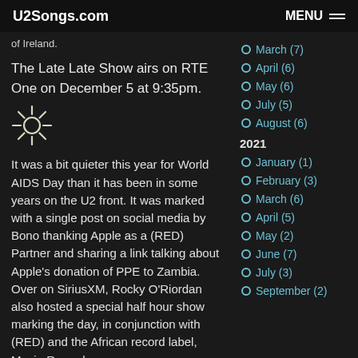U2Songs.com  MENU
of Ireland.
The Late Late Show airs on RTE One on December 5 at 9:35pm.
[Figure (illustration): Sun/asterisk icon]
It was a bit quieter this year for World AIDS Day than it has been in some years on the U2 front. It was marked with a single post on social media by Bono thanking Apple as a (RED) Partner and sharing a link talking about Apple's donation of PPE to Zambia. Over on SiriusXM, Rocky O'Riordan also hosted a special half hour show marking the day, in conjunction with (RED) and the African record label, Mavin Records.
March (7)
April (6)
May (6)
July (5)
August (6)
2021
January (1)
February (3)
March (6)
April (5)
May (2)
June (7)
July (3)
September (2)